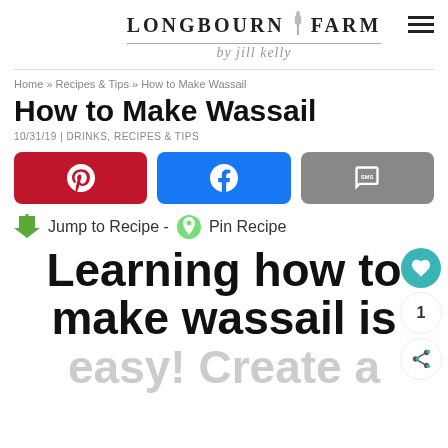[Figure (logo): Longbourn Farm logo with wheat icon and cursive 'by jill kelly' subtitle]
Home » Recipes & Tips » How to Make Wassail
How to Make Wassail
10/31/19 | DRINKS, RECIPES & TIPS
[Figure (infographic): Three social share buttons: Pinterest (red), Facebook (blue), SMS (gray)]
Jump to Recipe - Pin Recipe
Learning how to make wassail is easy! Create a